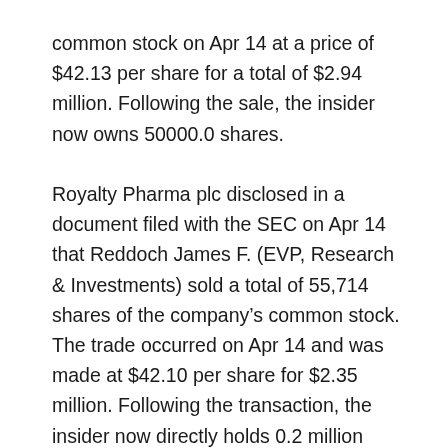common stock on Apr 14 at a price of $42.13 per share for a total of $2.94 million. Following the sale, the insider now owns 50000.0 shares.
Royalty Pharma plc disclosed in a document filed with the SEC on Apr 14 that Reddoch James F. (EVP, Research & Investments) sold a total of 55,714 shares of the company's common stock. The trade occurred on Apr 14 and was made at $42.10 per share for $2.35 million. Following the transaction, the insider now directly holds 0.2 million shares of the RPRX stock.
Still, SEC filings show that on Apr 12, Reddoch